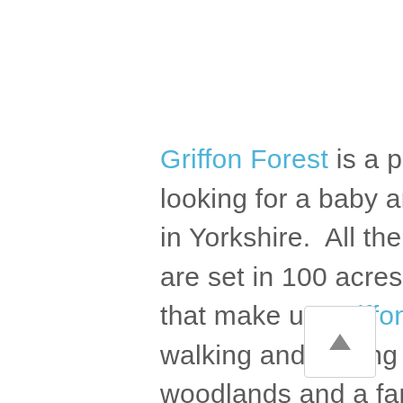Griffon Forest is a popular choice for families looking for a baby and toddler friendly place to stay in Yorkshire.  All the log cabins have hot tubs and are set in 100 acres of naturally beautiful woodland that make up Griffon Forest.  There's a network of walking and cycling trails that weave through the woodlands and a family-friendly restaurant.  Families can venture out to the city of York to visit the National Railway Museum and York's Chocolate Story.